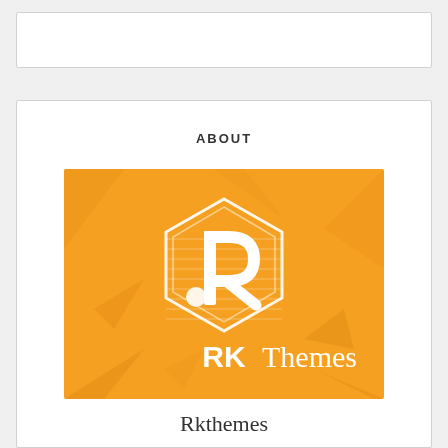[Figure (other): Empty white box at top of page]
ABOUT
[Figure (logo): RKThemes logo on orange background with hexagon icon containing a stylized R letter mark]
Rkthemes
...